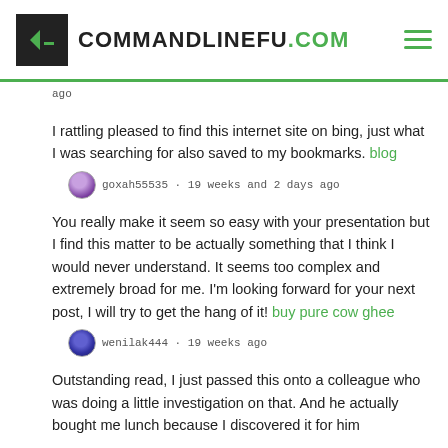COMMANDLINEFU.COM
ago
I rattling pleased to find this internet site on bing, just what I was searching for also saved to my bookmarks. blog
goxah55535 · 19 weeks and 2 days ago
You really make it seem so easy with your presentation but I find this matter to be actually something that I think I would never understand. It seems too complex and extremely broad for me. I'm looking forward for your next post, I will try to get the hang of it! buy pure cow ghee
wenilak444 · 19 weeks ago
Outstanding read, I just passed this onto a colleague who was doing a little investigation on that. And he actually bought me lunch because I discovered it for him